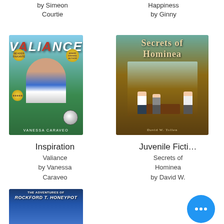by Simeon Courtie
Happiness by Ginny
[Figure (photo): Book cover: Valiance by Vanessa Caraveo — soccer/sports themed cover with player, award badges, soccer ball]
[Figure (photo): Book cover: Secrets of Hominea by David W. Tollen — fantasy/juvenile fiction cover with figures in ornate room]
Inspiration
Valiance
by Vanessa
Caraveo
Juvenile Ficti…
Secrets of
Hominea
by David W.
Tollen
[Figure (photo): Book cover: The Adventures of Rockford T. Honeypot — children's book with mountain/night sky scene]